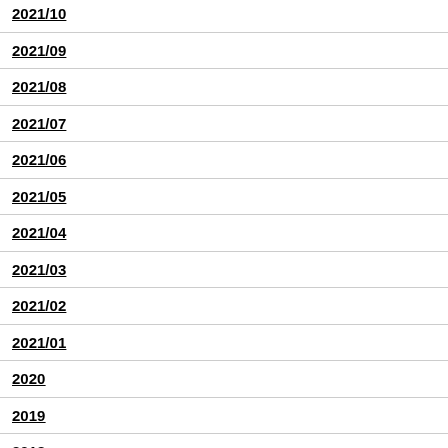2021/10
2021/09
2021/08
2021/07
2021/06
2021/05
2021/04
2021/03
2021/02
2021/01
2020
2019
2018